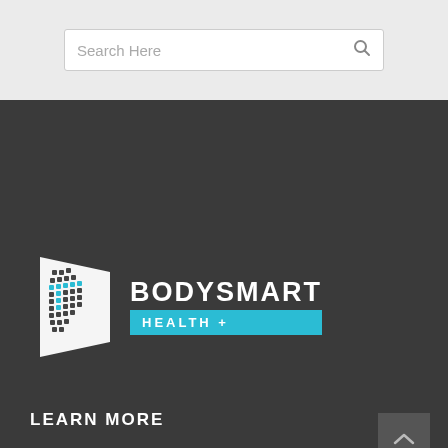Search Here
[Figure (logo): BodySmart Health+ logo with grid icon and text]
LEARN MORE
Pilates, Health & Fitness
Womens Health
Rehab and Therapy